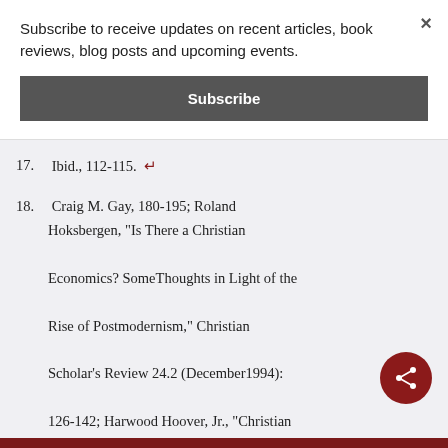Subscribe to receive updates on recent articles, book reviews, blog posts and upcoming events.
Subscribe
×
17. Ibid., 112-115.
18. Craig M. Gay, 180-195; Roland Hoksbergen, "Is There a Christian Economics? SomeThoughts in Light of the Rise of Postmodernism," Christian Scholar's Review 24.2 (December1994): 126-142; Harwood Hoover, Jr., "Christian Ethics and Market Mechanisms of Profit:The Intersection of Scriptural